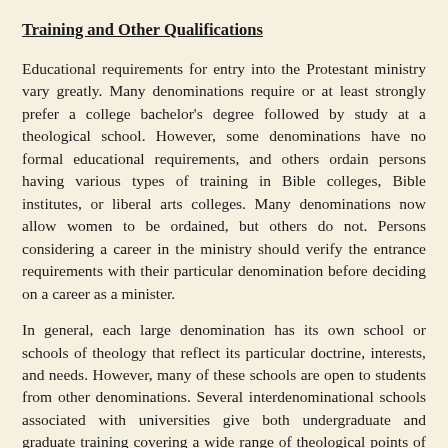Training and Other Qualifications
Educational requirements for entry into the Protestant ministry vary greatly. Many denominations require or at least strongly prefer a college bachelor's degree followed by study at a theological school. However, some denominations have no formal educational requirements, and others ordain persons having various types of training in Bible colleges, Bible institutes, or liberal arts colleges. Many denominations now allow women to be ordained, but others do not. Persons considering a career in the ministry should verify the entrance requirements with their particular denomination before deciding on a career as a minister.
In general, each large denomination has its own school or schools of theology that reflect its particular doctrine, interests, and needs. However, many of these schools are open to students from other denominations. Several interdenominational schools associated with universities give both undergraduate and graduate training covering a wide range of theological points of view.
In 1992, over 200 American Protestant theological schools were accredited by the Association of Theological Schools in the United States and Canada. These admit only students who have received a bachelor's degree or its equivalent in liberal arts from an accredited